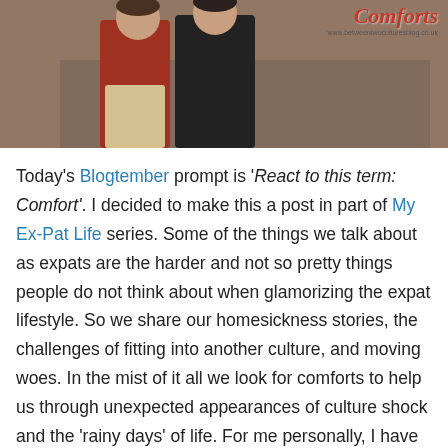[Figure (photo): Photo of two people standing together outdoors, one wearing a red/maroon long-sleeve shirt and beige pants, the other in a black leather jacket. A logo reading 'Comforts' is visible in the top right corner.]
Today's Blogtember prompt is 'React to this term: Comfort'.  I decided to make this a post in part of My Ex-Pat Life series.  Some of the things we talk about as expats are the harder and not so pretty things people do not think about when glamorizing the expat lifestyle.  So we share our homesickness stories, the challenges of fitting into another culture, and moving woes.  In the mist of it all we look for comforts to help us through unexpected appearances of culture shock and the 'rainy days' of life.  For me personally, I have found it very beneficial to find comforts in both my 'host' and 'home' cultures.    There is something to be said about finding balance to gain focus and happiness in your life.  To be able to pick yourself up and find the best of both worlds.  I love finding comforts to enjoy when I am already in a really great state of mind.  They become the cherry on top of my